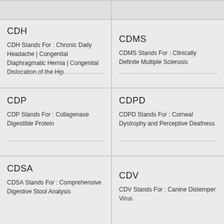CDH
CDH Stands For : Chronic Daily Headache | Congenital Diaphragmatic Hernia | Congenital Dislocation of the Hip
CDMS
CDMS Stands For : Clinically Definite Multiple Sclerosis
CDP
CDP Stands For : Collagenase Digestible Protein
CDPD
CDPD Stands For : Corneal Dystrophy and Perceptive Deafness
CDSA
CDSA Stands For : Comprehensive Digestive Stool Analysis
CDV
CDV Stands For : Canine Distemper Virus